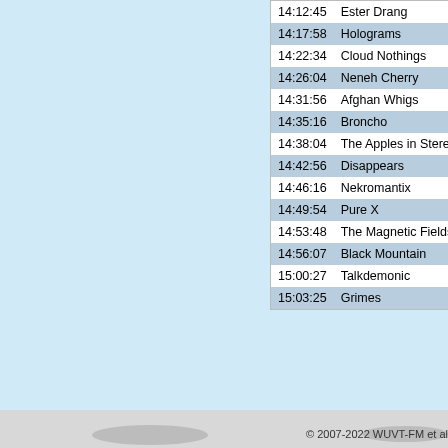| Time | Artist |
| --- | --- |
| 14:12:45 | Ester Drang |
| 14:17:58 | Holograms |
| 14:22:34 | Cloud Nothings |
| 14:26:04 | Neneh Cherry |
| 14:31:56 | Afghan Whigs |
| 14:35:16 | Broncho |
| 14:38:04 | The Apples in Stereo |
| 14:42:56 | Disappears |
| 14:46:16 | Nekromantix |
| 14:49:54 | Pure X |
| 14:53:48 | The Magnetic Fields |
| 14:56:07 | Black Mountain |
| 15:00:27 | Talkdemonic |
| 15:03:25 | Grimes |
© 2007-2022 WUVT-FM et al